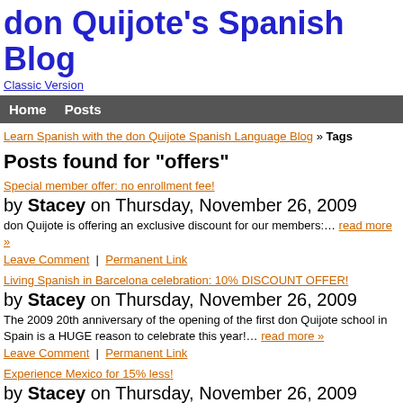don Quijote's Spanish Blog
Classic Version
Home   Posts
Learn Spanish with the don Quijote Spanish Language Blog » Tags
Posts found for "offers"
Special member offer: no enrollment fee!
by Stacey on Thursday, November 26, 2009
don Quijote is offering an exclusive discount for our members:… read more »
Leave Comment  |  Permanent Link
Living Spanish in Barcelona celebration: 10% DISCOUNT OFFER!
by Stacey on Thursday, November 26, 2009
The 2009 20th anniversary of the opening of the first don Quijote school in Spain is a HUGE reason to celebrate this year!… read more »
Leave Comment  |  Permanent Link
Experience Mexico for 15% less!
by Stacey on Thursday, November 26, 2009